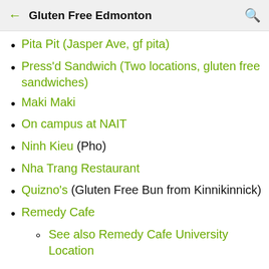Gluten Free Edmonton
Pita Pit (Jasper Ave, gf pita)
Press'd Sandwich (Two locations, gluten free sandwiches)
Maki Maki
On campus at NAIT
Ninh Kieu (Pho)
Nha Trang Restaurant
Quizno's (Gluten Free Bun from Kinnikinnick)
Remedy Cafe
See also Remedy Cafe University Location